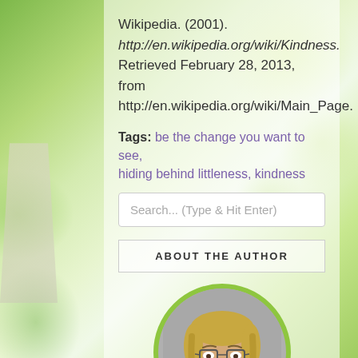Wikipedia. (2001). http://en.wikipedia.org/wiki/Kindness. Retrieved February 28, 2013, from http://en.wikipedia.org/wiki/Main_Page.
Tags: be the change you want to see, hiding behind littleness, kindness
Search... (Type & Hit Enter)
ABOUT THE AUTHOR
[Figure (photo): Circular cropped headshot of a woman with blonde hair and glasses, wearing dark clothing, with a green circular border.]